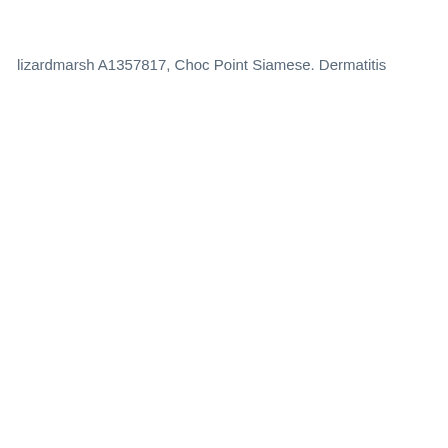lizardmarsh A1357817, Choc Point Siamese. Dermatitis